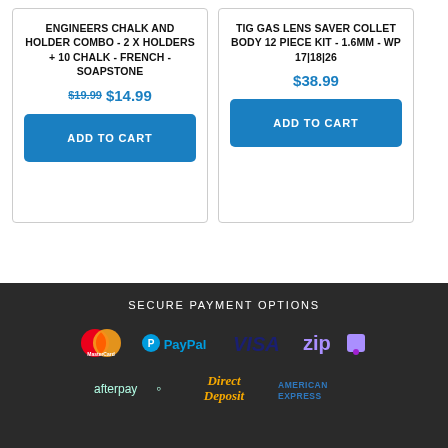ENGINEERS CHALK AND HOLDER COMBO - 2 X HOLDERS + 10 CHALK - FRENCH - SOAPSTONE
$19.99 $14.99
ADD TO CART
TIG GAS LENS SAVER COLLET BODY 12 PIECE KIT - 1.6MM - WP 17|18|26
$38.99
ADD TO CART
SECURE PAYMENT OPTIONS
[Figure (logo): Payment logos: MasterCard, PayPal, VISA, Zip, Afterpay, Direct Deposit, American Express]